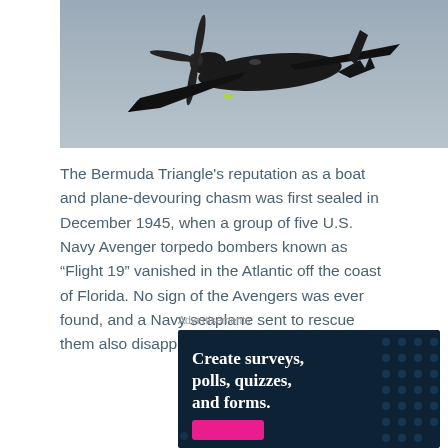[Figure (photo): Dark-colored military aircraft (U.S. Navy Avenger torpedo bomber) photographed from below against a grey sky, showing wings, propeller, and underside of the fuselage.]
The Bermuda Triangle’s reputation as a boat and plane-devouring chasm was first sealed in December 1945, when a group of five U.S. Navy Avenger torpedo bombers known as “Flight 19” vanished in the Atlantic off the coast of Florida. No sign of the Avengers was ever found, and a Navy seaplane sent to rescue them also disappeared without a trace.
Advertisements
[Figure (screenshot): Dark navy blue advertisement banner with scattered dot pattern, bold white serif text reading 'Create surveys, polls, quizzes, and forms.' with a pink/magenta button at the bottom.]